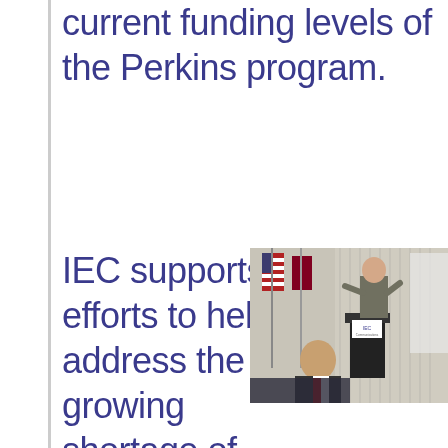current funding levels of the Perkins program.
IEC supports efforts to help address the growing shortage of workers for
[Figure (photo): A man speaking at a podium with an IEC sign at what appears to be a conference. An American flag is visible in the background. Another man is seated in the foreground.]